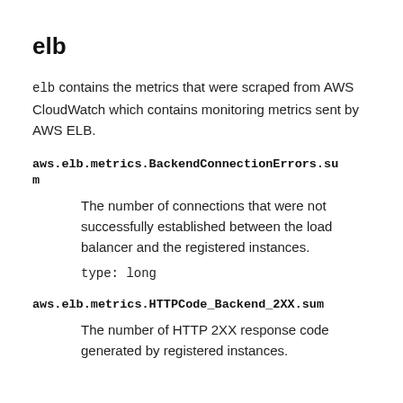elb
elb contains the metrics that were scraped from AWS CloudWatch which contains monitoring metrics sent by AWS ELB.
aws.elb.metrics.BackendConnectionErrors.sum
The number of connections that were not successfully established between the load balancer and the registered instances.
type: long
aws.elb.metrics.HTTPCode_Backend_2XX.sum
The number of HTTP 2XX response code generated by registered instances.